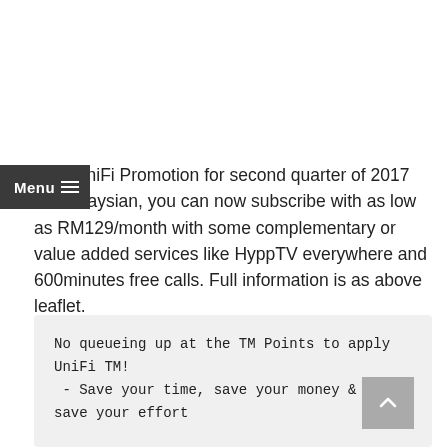New UniFi Promotion for second quarter of 2017 for Malaysian, you can now subscribe with as low as RM129/month with some complementary or value added services like HyppTV everywhere and 600minutes free calls. Full information is as above leaflet.
No queueing up at the TM Points to apply UniFi TM!
 - Save your time, save your money & save your effort